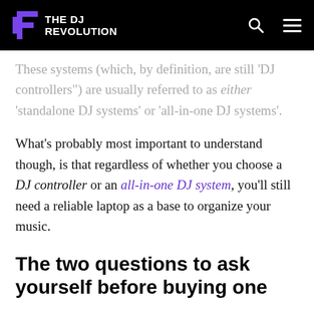THE DJ REVOLUTION
These systems (which, by definition, are still 'DJ controllers") are usually referred to as either 'standalone DJ systems' or 'all-in-one DJ systems'.
What's probably most important to understand though, is that regardless of whether you choose a DJ controller or an all-in-one DJ system, you'll still need a reliable laptop as a base to organize your music.
The two questions to ask yourself before buying one